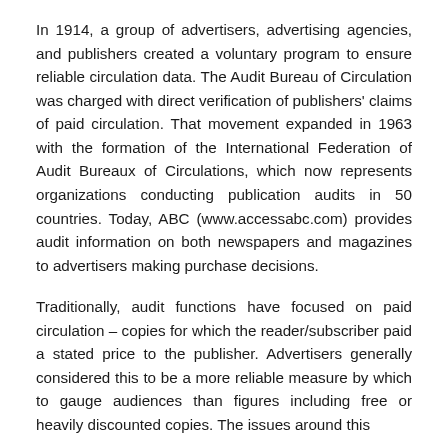In 1914, a group of advertisers, advertising agencies, and publishers created a voluntary program to ensure reliable circulation data. The Audit Bureau of Circulation was charged with direct verification of publishers' claims of paid circulation. That movement expanded in 1963 with the formation of the International Federation of Audit Bureaux of Circulations, which now represents organizations conducting publication audits in 50 countries. Today, ABC (www.accessabc.com) provides audit information on both newspapers and magazines to advertisers making purchase decisions.
Traditionally, audit functions have focused on paid circulation – copies for which the reader/subscriber paid a stated price to the publisher. Advertisers generally considered this to be a more reliable measure by which to gauge audiences than figures including free or heavily discounted copies. The issues around this...